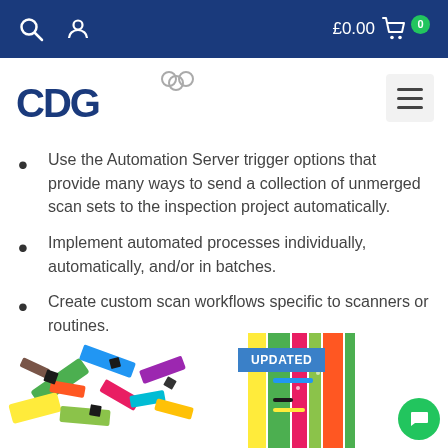£0.00  0
[Figure (logo): CDG company logo with stylized letters and chain link icon]
Use the Automation Server trigger options that provide many ways to send a collection of unmerged scan sets to the inspection project automatically.
Implement automated processes individually, automatically, and/or in batches.
Create custom scan workflows specific to scanners or routines.
[Figure (photo): Two product images side by side showing colorful scan/inspection items with an UPDATED badge label on the right image]